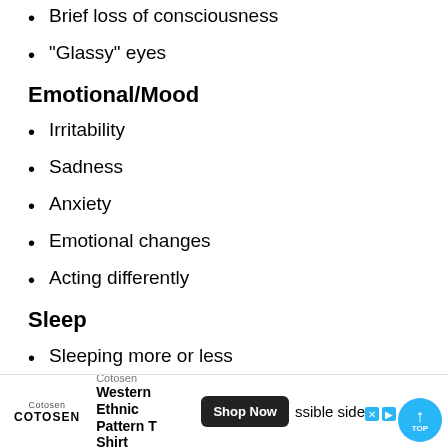Brief loss of consciousness
"Glassy" eyes
Emotional/Mood
Irritability
Sadness
Anxiety
Emotional changes
Acting differently
Sleep
Sleeping more or less
Sleep troubles
ssible side